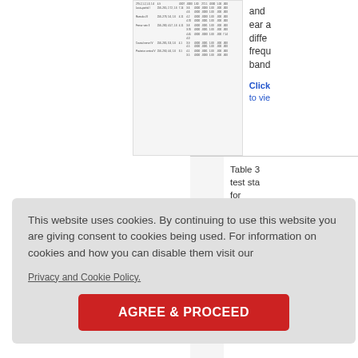[Figure (table-as-image): Partial view of a data table with multiple rows and columns of numerical values, showing audiological test results]
and ear a diffe frequ band
Click to view
Table 3 test sta for compa betwe expose group (N=165 and co group (N=57)
Click he view
This website uses cookies. By continuing to use this website you are giving consent to cookies being used. For information on cookies and how you can disable them visit our
Privacy and Cookie Policy.
AGREE & PROCEED